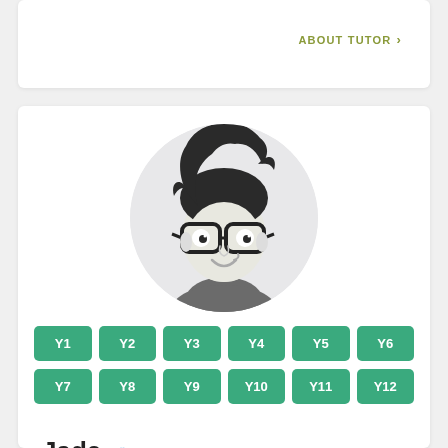ABOUT TUTOR >
[Figure (illustration): Cartoon avatar of a male tutor with dark spiky hair, glasses, and a smirk, wearing a grey shirt, on a light grey circular background]
Y1
Y2
Y3
Y4
Y5
Y6
Y7
Y8
Y9
Y10
Y11
Y12
Jade ♂